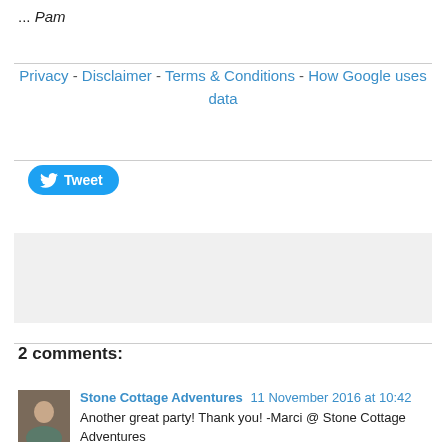... Pam
Privacy - Disclaimer - Terms & Conditions - How Google uses data
[Figure (other): Tweet button with Twitter bird icon]
[Figure (other): Facebook share widget area with Share button]
2 comments:
Stone Cottage Adventures  11 November 2016 at 10:42
Another great party! Thank you! -Marci @ Stone Cottage Adventures